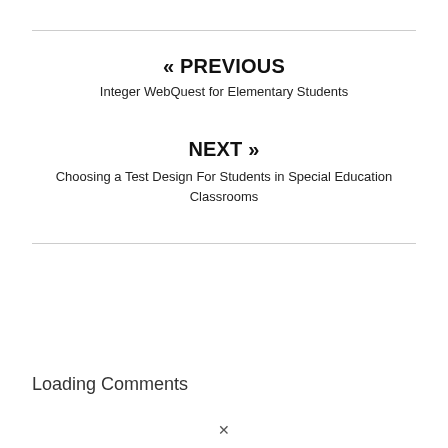« PREVIOUS
Integer WebQuest for Elementary Students
NEXT »
Choosing a Test Design For Students in Special Education Classrooms
Loading Comments